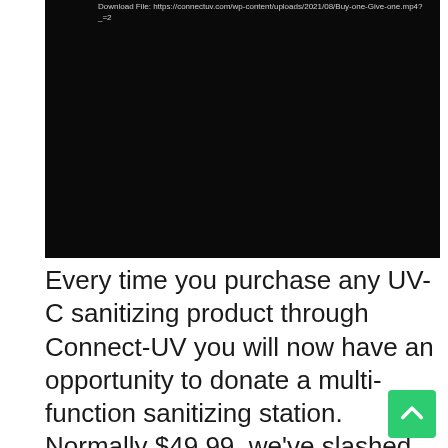[Figure (screenshot): Dark/black video player area with a URL shown at the top: Download File: https://connectuv.com/wp-content/uploads/2021/08/Buy-one-Give-one.mp4?_=2]
Every time you purchase any UV-C sanitizing product through Connect-UV you will now have an opportunity to donate a multi-function sanitizing station. Normally $49.99, we've slashed the price of donated units to just $25! Connect-UV will cover the rest, donate the sanitizing station, and let you